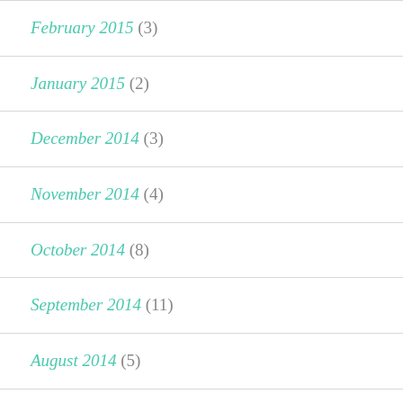February 2015 (3)
January 2015 (2)
December 2014 (3)
November 2014 (4)
October 2014 (8)
September 2014 (11)
August 2014 (5)
July 2014 (9)